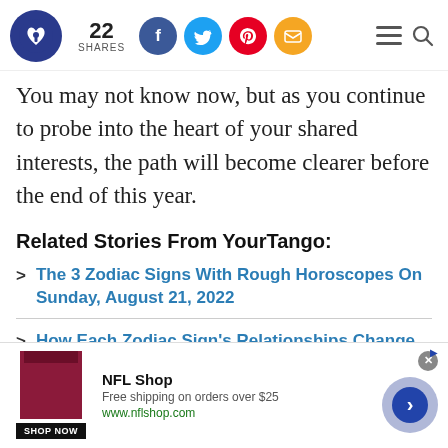YourTango logo | 22 SHARES | Facebook, Twitter, Pinterest, Email social buttons | Hamburger menu | Search
You may not know now, but as you continue to probe into the heart of your shared interests, the path will become clearer before the end of this year.
Related Stories From YourTango:
> The 3 Zodiac Signs With Rough Horoscopes On Sunday, August 21, 2022
> How Each Zodiac Sign's Relationships Change
[Figure (other): NFL Shop advertisement banner with red jersey image, 'NFL Shop' title, 'Free shipping on orders over $25', 'www.nflshop.com', 'SHOP NOW' button, close button, and forward arrow circle button]